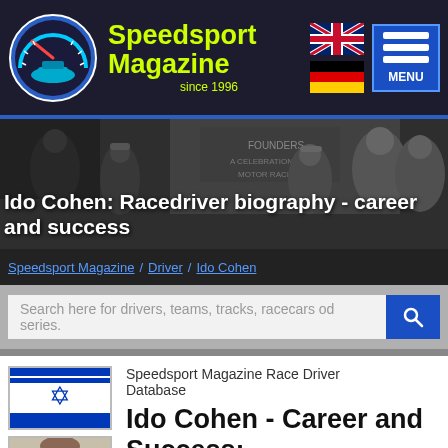[Figure (logo): Speedsport Magazine header with logo, yellow brand text, UK and German flag icons, and hamburger MENU button on dark background]
[Figure (photo): Hero banner with racing drivers in background, dark overlay]
Ido Cohen: Racedriver biography - career and success
Speedsport Magazine / Driver / Ido Cohen
Search here for drivers, teams, tracks, racecars od series.
[Figure (illustration): Israeli flag icon]
[Figure (photo): Photo of Ido Cohen]
Speedsport Magazine Race Driver Database
Ido Cohen - Career and Success: